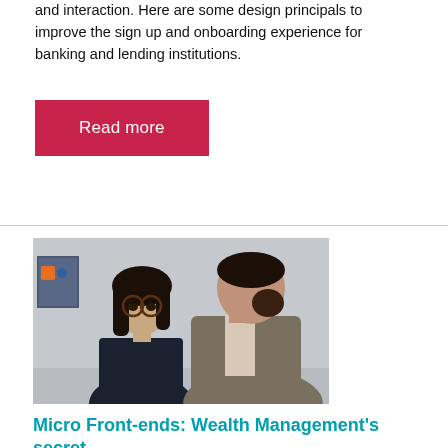and interaction. Here are some design principals to improve the sign up and onboarding experience for banking and lending institutions.
Read more
[Figure (photo): Two people in an office setting having a conversation; a woman with dark hair and round glasses looking at a man in a blazer who is facing her]
Micro Front-ends: Wealth Management’s secret to accelerating digital transformation